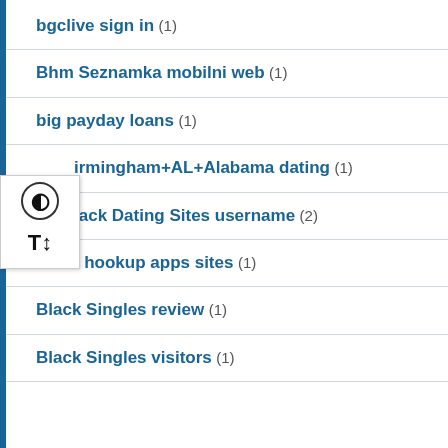bgclive sign in (1)
Bhm Seznamka mobilni web (1)
big payday loans (1)
Birmingham+AL+Alabama dating (1)
Black Dating Sites username (2)
black hookup apps sites (1)
Black Singles review (1)
Black Singles visitors (1)